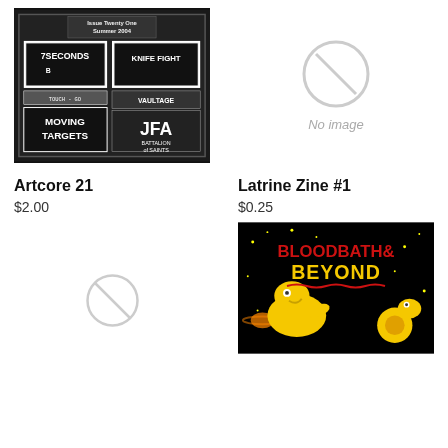[Figure (photo): Black and white photo of a zine cover 'Artcore 21' Issue Twenty One Summer 2004, featuring band posters including 7Seconds, Knife Fight, JFA, Moving Targets, Battalion of Saints, Vaultage]
Artcore 21
$2.00
[Figure (other): No image placeholder with circular icon and text 'No image']
Latrine Zine #1
$0.25
[Figure (other): No image placeholder (small, partially visible)]
[Figure (illustration): Colorful illustration for 'Bloodbath & Beyond' with yellow cartoon creatures, planets, and stars on black background with red and yellow text]